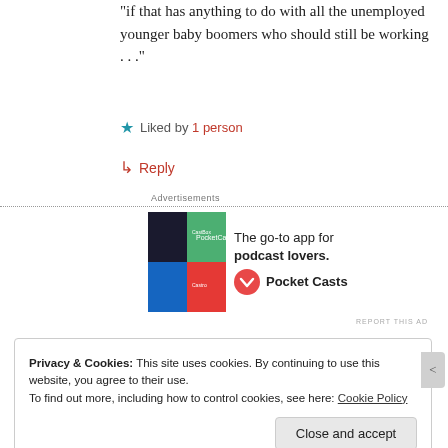“if that has anything to do with all the unemployed younger baby boomers who should still be working . . .”
★ Liked by 1 person
↳ Reply
[Figure (other): Pocket Casts advertisement: colored tile logo on left, text 'The go-to app for podcast lovers.' and Pocket Casts logo on right]
REPORT THIS AD
Privacy & Cookies: This site uses cookies. By continuing to use this website, you agree to their use. To find out more, including how to control cookies, see here: Cookie Policy
Close and accept